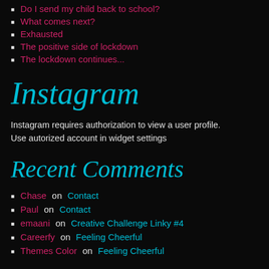Do I send my child back to school?
What comes next?
Exhausted
The positive side of lockdown
The lockdown continues...
Instagram
Instagram requires authorization to view a user profile. Use autorized account in widget settings
Recent Comments
Chase on Contact
Paul on Contact
emaani on Creative Challenge Linky #4
Careerfy on Feeling Cheerful
Themes Color on Feeling Cheerful